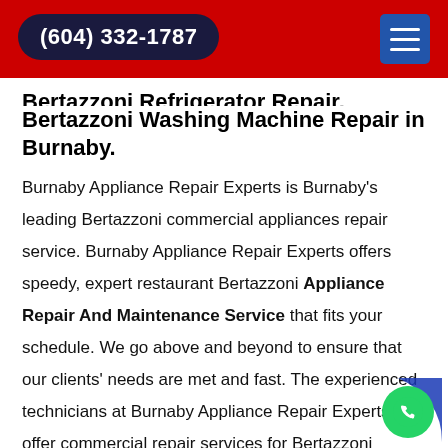(604) 332-1787
Bertazzoni Washing Machine Repair in Burnaby.
Burnaby Appliance Repair Experts is Burnaby's leading Bertazzoni commercial appliances repair service. Burnaby Appliance Repair Experts offers speedy, expert restaurant Bertazzoni Appliance Repair And Maintenance Service that fits your schedule. We go above and beyond to ensure that our clients' needs are met and fast. The experienced technicians at Burnaby Appliance Repair Experts offer commercial repair services for Bertazzoni commercial appliances across Burnaby, British Columbia. As a restaurant